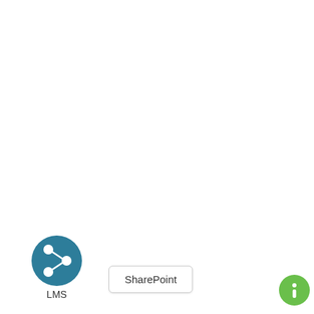[Figure (illustration): A teal/dark-cyan circular button icon with a white share/network icon (three connected circles) in the center, labeled 'LMS' below it. To the right is a white rounded rectangular button labeled 'SharePoint'. In the bottom-right corner is a small green circular button with a white info/question mark icon.]